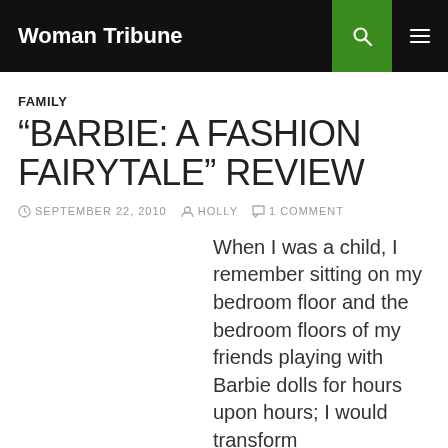Woman Tribune
FAMILY
“BARBIE: A FASHION FAIRYTALE” REVIEW
SEPTEMBER 22, 2010  HOLLY  1 COMMENT
When I was a child, I remember sitting on my bedroom floor and the bedroom floors of my friends playing with Barbie dolls for hours upon hours; I would transform